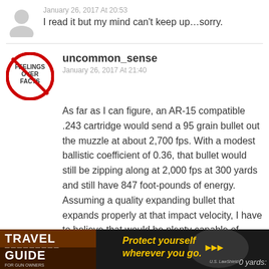January 26, 2017 At 20:53
I read it but my mind can't keep up…sorry.
uncommon_sense
January 26, 2017 At 21:40
As far as I can figure, an AR-15 compatible .243 cartridge would send a 95 grain bullet out the muzzle at about 2,700 fps. With a modest ballistic coefficient of 0.36, that bullet would still be zipping along at 2,000 fps at 300 yards and still have 847 foot-pounds of energy. Assuming a quality expanding bullet that expands properly at that impact velocity, I have to believe that would be plenty capable of stopping humans and medium sized game at that range.
[Figure (photo): Advertisement banner: Travel Guide for Gun Owners - Protect yourself wherever you go. US LawShield logo. Partially visible text '0 yards:']
0 yards: